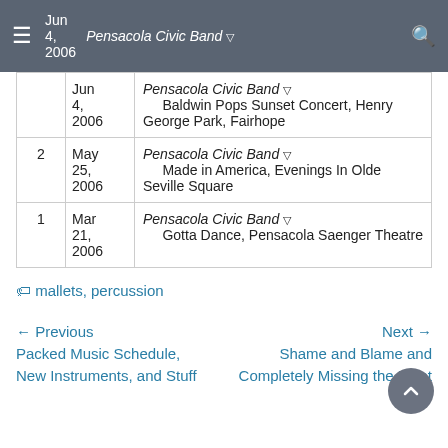≡ Jun 4, 2006  Pensacola Civic Band ▽  🔍
| # | Date | Event |
| --- | --- | --- |
|  | Jun 4, 2006 | Pensacola Civic Band ▽
Baldwin Pops Sunset Concert, Henry George Park, Fairhope |
| 2 | May 25, 2006 | Pensacola Civic Band ▽
Made in America, Evenings In Olde Seville Square |
| 1 | Mar 21, 2006 | Pensacola Civic Band ▽
Gotta Dance, Pensacola Saenger Theatre |
🏷 mallets, percussion
← Previous
Packed Music Schedule, New Instruments, and Stuff
Next →
Shame and Blame and Completely Missing the Point